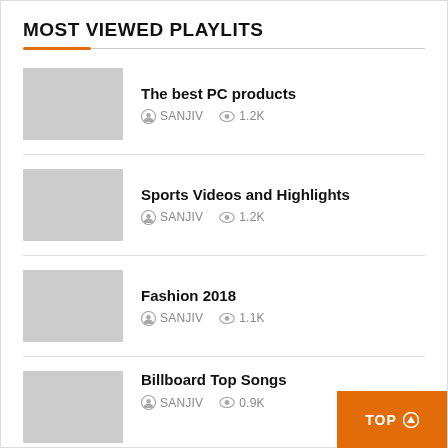MOST VIEWED PLAYLITS
The best PC products | SANJIV | 1.2K
Sports Videos and Highlights | SANJIV | 1.2K
Fashion 2018 | SANJIV | 1.1K
Billboard Top Songs | SANJIV | 0.9K